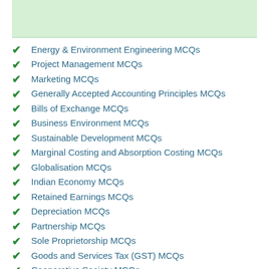Energy & Environment Engineering MCQs
Project Management MCQs
Marketing MCQs
Generally Accepted Accounting Principles MCQs
Bills of Exchange MCQs
Business Environment MCQs
Sustainable Development MCQs
Marginal Costing and Absorption Costing MCQs
Globalisation MCQs
Indian Economy MCQs
Retained Earnings MCQs
Depreciation MCQs
Partnership MCQs
Sole Proprietorship MCQs
Goods and Services Tax (GST) MCQs
Cooperative Society MCQs
Capital Market MCQs